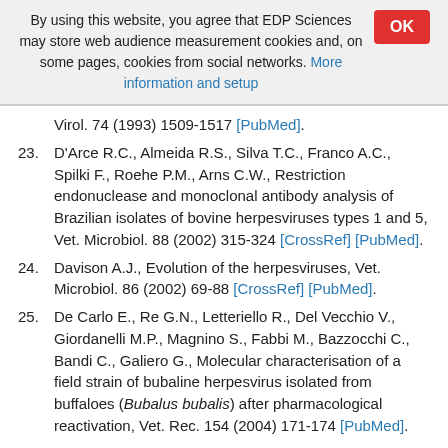By using this website, you agree that EDP Sciences may store web audience measurement cookies and, on some pages, cookies from social networks. More information and setup
Virol. 74 (1993) 1509-1517 [PubMed].
23. D'Arce R.C., Almeida R.S., Silva T.C., Franco A.C., Spilki F., Roehe P.M., Arns C.W., Restriction endonuclease and monoclonal antibody analysis of Brazilian isolates of bovine herpesviruses types 1 and 5, Vet. Microbiol. 88 (2002) 315-324 [CrossRef] [PubMed].
24. Davison A.J., Evolution of the herpesviruses, Vet. Microbiol. 86 (2002) 69-88 [CrossRef] [PubMed].
25. De Carlo E., Re G.N., Letteriello R., Del Vecchio V., Giordanelli M.P., Magnino S., Fabbi M., Bazzocchi C., Bandi C., Galiero G., Molecular characterisation of a field strain of bubaline herpesvirus isolated from buffaloes (Bubalus bubalis) after pharmacological reactivation, Vet. Rec. 154 (2004) 171-174 [PubMed].